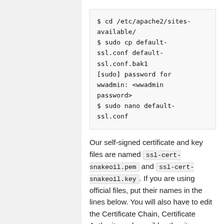$ cd /etc/apache2/sites-available/
$ sudo cp default-ssl.conf default-ssl.conf.bak1
[sudo] password for wwadmin: <wwadmin password>
$ sudo nano default-ssl.conf
Our self-signed certificate and key files are named ssl-cert-snakeoil.pem and ssl-cert-snakeoil.key. If you are using official files, put their names in the lines below. You will also have to edit the Certificate Chain, Certificate Authority and possibly other items.